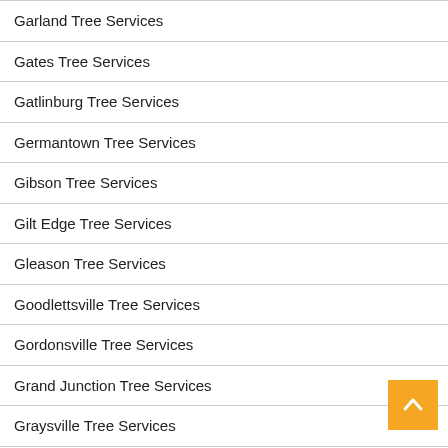Garland Tree Services
Gates Tree Services
Gatlinburg Tree Services
Germantown Tree Services
Gibson Tree Services
Gilt Edge Tree Services
Gleason Tree Services
Goodlettsville Tree Services
Gordonsville Tree Services
Grand Junction Tree Services
Graysville Tree Services